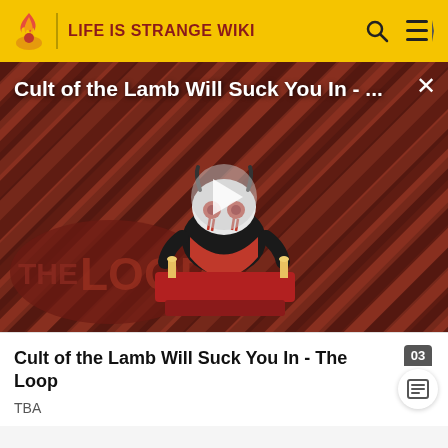LIFE IS STRANGE WIKI
[Figure (screenshot): Video thumbnail for 'Cult of the Lamb Will Suck You In - The Loop' showing an animated lamb character with red eyes on a red-and-dark diagonal striped background, with 'THE LOOP' text in the lower left. A semi-transparent play button is centered on the image.]
Cult of the Lamb Will Suck You In - The Loop
TBA